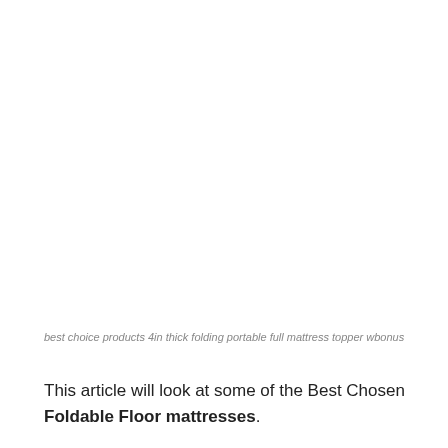best choice products 4in thick folding portable full mattress topper wbonus
This article will look at some of the Best Chosen Foldable Floor mattresses.